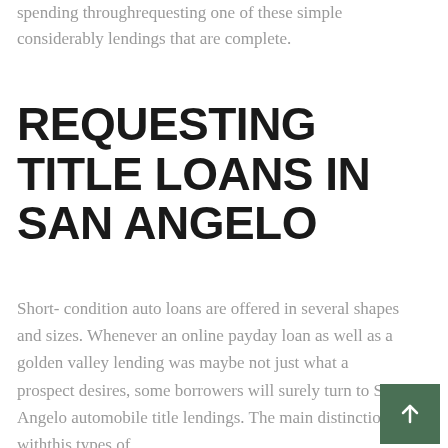spending throughrequesting one of these simple considerably lendings that are complete.
REQUESTING TITLE LOANS IN SAN ANGELO
Short- condition auto loans are offered in several shapes and sizes. Whenever an online payday loan as well as a golden valley lending was maybe not just what a prospect desires, some borrowers will surely turn to San Angelo automobile title lendings. The main distinction withthis types of